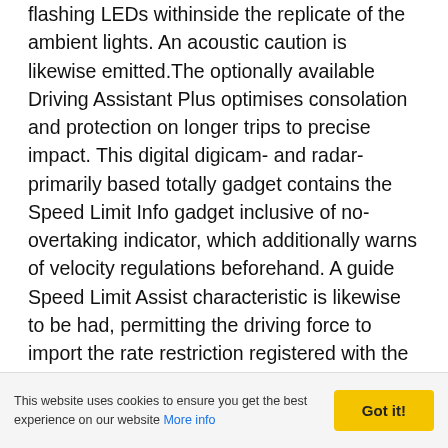flashing LEDs withinside the replicate of the ambient lights. An acoustic caution is likewise emitted.The optionally available Driving Assistant Plus optimises consolation and protection on longer trips to precise impact. This digital digicam- and radar-primarily based totally gadget contains the Speed Limit Info gadget inclusive of no-overtaking indicator, which additionally warns of velocity regulations beforehand. A guide Speed Limit Assist characteristic is likewise to be had, permitting the driving force to import the rate restriction registered with the aid of using the Speed Limit Info gadget as the brand new set velocity at the frenzy of a button.Another function of Driving Assistant Plus is Active Cruise Control with Stop&Go characteristic, that's able to now no longer most effective keeping the
This website uses cookies to ensure you get the best experience on our website More info